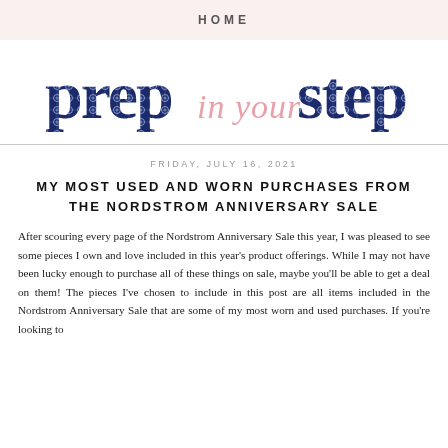HOME
[Figure (logo): Prep in Your Step blog logo with navy blue patterned letters and pink script cursive text for 'in your']
FRIDAY, JULY 16, 2021
MY MOST USED AND WORN PURCHASES FROM THE NORDSTROM ANNIVERSARY SALE
After scouring every page of the Nordstrom Anniversary Sale this year, I was pleased to see some pieces I own and love included in this year's product offerings. While I may not have been lucky enough to purchase all of these things on sale, maybe you'll be able to get a deal on them! The pieces I've chosen to include in this post are all items included in the Nordstrom Anniversary Sale that are some of my most worn and used purchases. If you're looking to